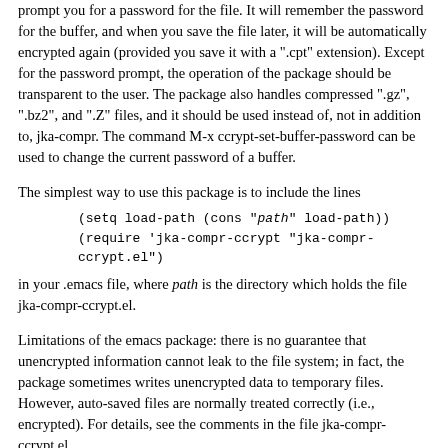prompt you for a password for the file. It will remember the password for the buffer, and when you save the file later, it will be automatically encrypted again (provided you save it with a ".cpt" extension). Except for the password prompt, the operation of the package should be transparent to the user. The package also handles compressed ".gz", ".bz2", and ".Z" files, and it should be used instead of, not in addition to, jka-compr. The command M-x ccrypt-set-buffer-password can be used to change the current password of a buffer.
The simplest way to use this package is to include the lines
in your .emacs file, where path is the directory which holds the file jka-compr-ccrypt.el.
Limitations of the emacs package: there is no guarantee that unencrypted information cannot leak to the file system; in fact, the package sometimes writes unencrypted data to temporary files. However, auto-saved files are normally treated correctly (i.e., encrypted). For details, see the comments in the file jka-compr-ccrypt.el.
EXIT STATUS
The exit status is 0 on successful completion, and non-zero...